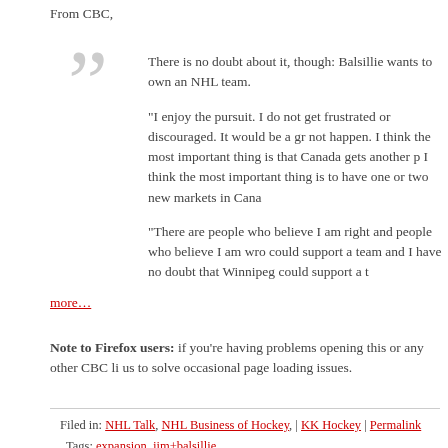From CBC,
There is no doubt about it, though: Balsillie wants to own an NHL team.
"I enjoy the pursuit. I do not get frustrated or discouraged. It would be a gr... not happen. I think the most important thing is that Canada gets another p... I think the most important thing is to have one or two new markets in Cana...
"There are people who believe I am right and people who believe I am wro... could support a team and I have no doubt that Winnipeg could support a t...
more…
Note to Firefox users: if you're having problems opening this or any other CBC li... us to solve occasional page loading issues.
Filed in: NHL Talk, NHL Business of Hockey, | KK Hockey | Permalink
Tags: expansion, jim+balsillie